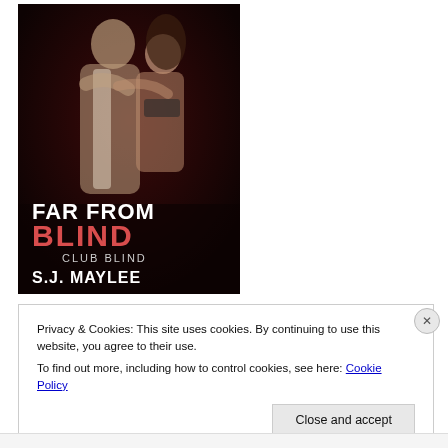[Figure (illustration): Book cover for 'Far From Blind' by S.J. Maylee – Club Blind series. Dark, sepia-toned romantic image of a man and woman embracing. Bold title text: FAR FROM BLIND in white/red letters, CLUB BLIND subtitle, author name S.J. MAYLEE in white.]
Privacy & Cookies: This site uses cookies. By continuing to use this website, you agree to their use.
To find out more, including how to control cookies, see here: Cookie Policy